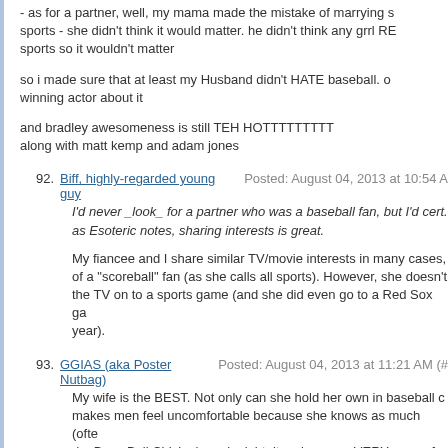- as for a partner, well, my mama made the mistake of marrying a man who hated sports - she didn't think it would matter. he didn't think any grrl REALLY cared about sports so it wouldn't matter
so i made sure that at least my Husband didn't HATE baseball. or something winning actor about it
and bradley awesomeness is still TEH HOTTTTTTTTT
along with matt kemp and adam jones
92. Biff, highly-regarded young guy Posted: August 04, 2013 at 10:54 A
I'd never _look_ for a partner who was a baseball fan, but I'd cert... as Esoteric notes, sharing interests is great.
My fiancee and I share similar TV/movie interests in many cases, of a "scoreball" fan (as she calls all sports). However, she doesn't mind me putting the TV on to a sports game (and she did even go to a Red Sox ga... year).
93. GGIAS (aka Poster Nutbag) Posted: August 04, 2013 at 11:21 AM (#
My wife is the BEST. Not only can she hold her own in baseball c... makes men feel uncomfortable because she knows as much (ofte... do. Bsae Ball Chick above is right, it makes men VERY uncomfor... It's AWESOME to have a wife as into baseball as I am. She know... game, having played all the way until college, and is always seek... She is so cool, we can't even go to the bay area without her begg... on either side of the bay!
94. Howie Menckel Posted: August 04, 2013 at 11:22 AM (#4512508)
"the thought of a woman who wanted to go to 16 baseball games... particularly appealing to me."